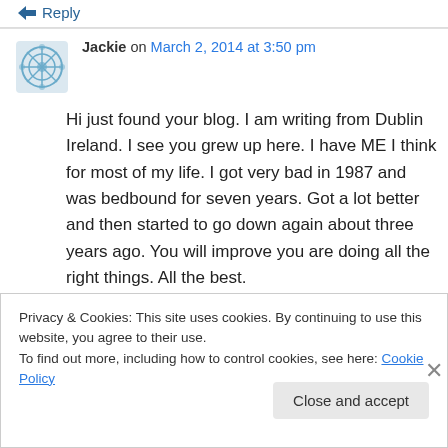↵ Reply
Jackie on March 2, 2014 at 3:50 pm
Hi just found your blog. I am writing from Dublin Ireland. I see you grew up here. I have ME I think for most of my life. I got very bad in 1987 and was bedbound for seven years. Got a lot better and then started to go down again about three years ago. You will improve you are doing all the right things. All the best.
Privacy & Cookies: This site uses cookies. By continuing to use this website, you agree to their use. To find out more, including how to control cookies, see here: Cookie Policy
Close and accept